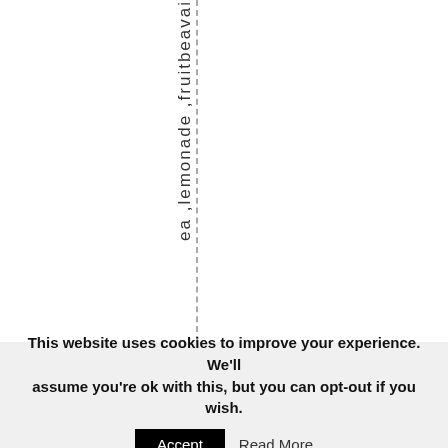ea ,lemonade ,fruitbeavai
This website uses cookies to improve your experience. We'll assume you're ok with this, but you can opt-out if you wish. Accept Read More